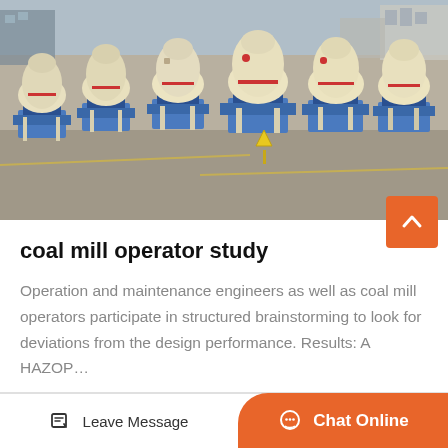[Figure (photo): Row of large industrial coal mill / grinding mill machines (cream/beige colored with red accents) on blue metal frames, lined up in a factory yard with industrial buildings in the background.]
coal mill operator study
Operation and maintenance engineers as well as coal mill operators participate in structured brainstorming to look for deviations from the design performance. Results: A HAZOP…